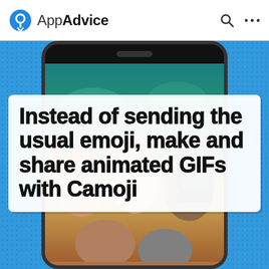AppAdvice
[Figure (screenshot): AppAdvice article page screenshot showing a phone frame with people taking selfies underwater, overlaid with a bold title card]
Instead of sending the usual emoji, make and share animated GIFs with Camoji